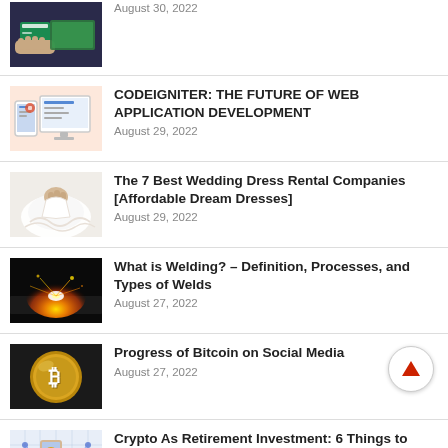August 30, 2022
CODEIGNITER: THE FUTURE OF WEB APPLICATION DEVELOPMENT
August 29, 2022
The 7 Best Wedding Dress Rental Companies [Affordable Dream Dresses]
August 29, 2022
What is Welding? – Definition, Processes, and Types of Welds
August 27, 2022
Progress of Bitcoin on Social Media
August 27, 2022
Crypto As Retirement Investment: 6 Things to Know
August 27, 2022